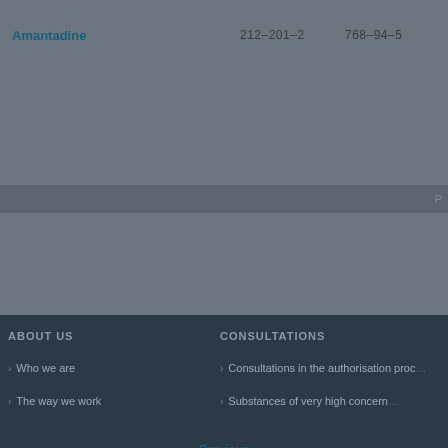Amantadine   212-201-2   768-94-5
Previous
ABOUT US
CONSULTATIONS
Who we are
The way we work
Consultations in the authorisation proc...
Substances of very high concern...